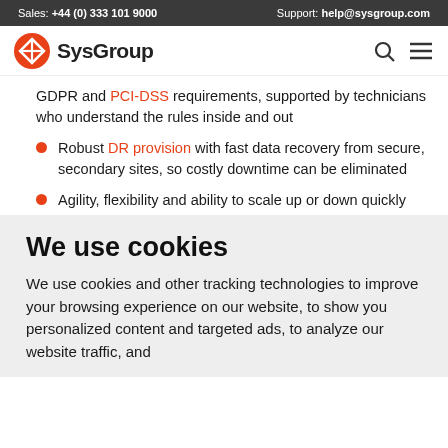Sales: +44 (0) 333 101 9000   Support: help@sysgroup.com
[Figure (logo): SysGroup logo with red diamond icon and bold SysGroup text, plus search and menu icons on the right]
GDPR and PCI-DSS requirements, supported by technicians who understand the rules inside and out
Robust DR provision with fast data recovery from secure, secondary sites, so costly downtime can be eliminated
Agility, flexibility and ability to scale up or down quickly
We use cookies
We use cookies and other tracking technologies to improve your browsing experience on our website, to show you personalized content and targeted ads, to analyze our website traffic, and